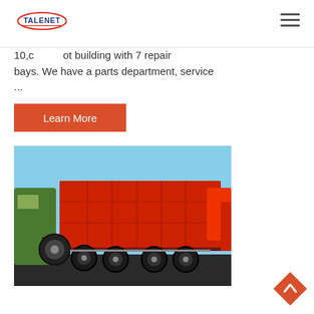TALENET [logo] [hamburger menu]
10,c...ot building with 7 repair bays. We have a parts department, service ...
Learn More
[Figure (photo): Red dump truck / tipper truck photographed from the side rear, showing large red cargo bed raised slightly, multiple axles with large tires, parked next to a green vehicle, blue sky background.]